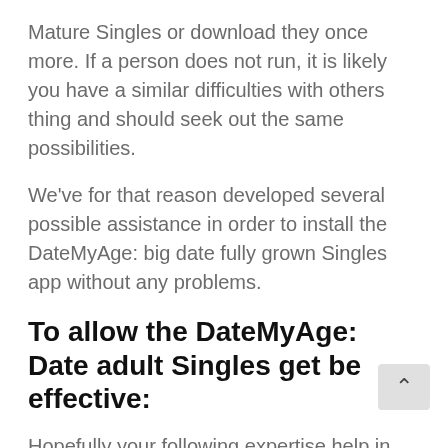Mature Singles or download they once more. If a person does not run, it is likely you have a similar difficulties with others thing and should seek out the same possibilities.
We've for that reason developed several possible assistance in order to install the DateMyAge: big date fully grown Singles app without any problems.
To allow the DateMyAge: Date adult Singles get be effective:
Hopefully your following expertise help in order to stream DateMyAge: go out fully grown Singles as well as the grab does not grab permanently. Knowing of some other possible solutions, we look forward to obtaining a note away from you at the of this informative article.